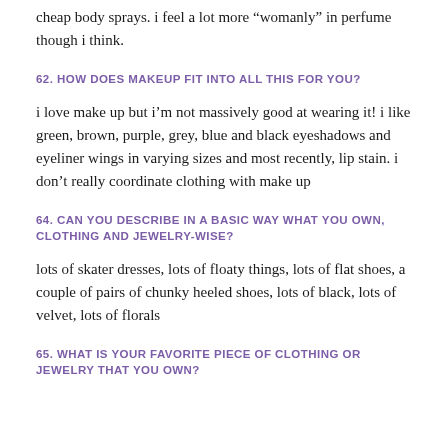cheap body sprays. i feel a lot more “womanly” in perfume though i think.
62. HOW DOES MAKEUP FIT INTO ALL THIS FOR YOU?
i love make up but i’m not massively good at wearing it! i like green, brown, purple, grey, blue and black eyeshadows and eyeliner wings in varying sizes and most recently, lip stain. i don’t really coordinate clothing with make up
64. CAN YOU DESCRIBE IN A BASIC WAY WHAT YOU OWN, CLOTHING AND JEWELRY-WISE?
lots of skater dresses, lots of floaty things, lots of flat shoes, a couple of pairs of chunky heeled shoes, lots of black, lots of velvet, lots of florals
65. WHAT IS YOUR FAVORITE PIECE OF CLOTHING OR JEWELRY THAT YOU OWN?